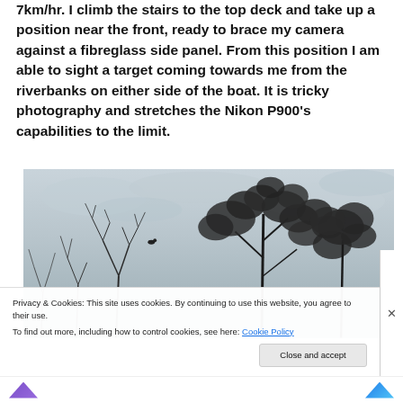7km/hr. I climb the stairs to the top deck and take up a position near the front, ready to brace my camera against a fibreglass side panel. From this position I am able to sight a target coming towards me from the riverbanks on either side of the boat. It is tricky photography and stretches the Nikon P900's capabilities to the limit.
[Figure (photo): Photograph of bare tree branches and leafy eucalyptus trees against an overcast grey sky, taken from a low angle. A small bird is visible perched on one of the bare branches.]
Privacy & Cookies: This site uses cookies. By continuing to use this website, you agree to their use.
To find out more, including how to control cookies, see here: Cookie Policy
Close and accept